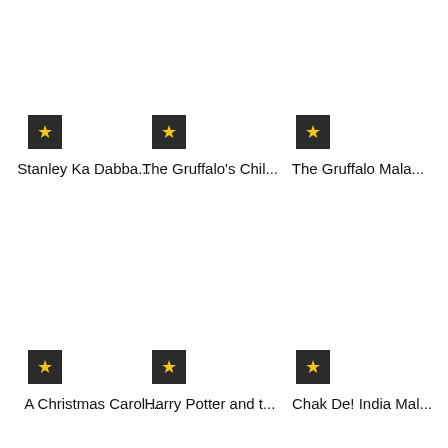[Figure (other): Star icon for Stanley Ka Dabba...]
Stanley Ka Dabba...
[Figure (other): Star icon for The Gruffalo's Chil...]
The Gruffalo's Chil...
[Figure (other): Star icon for The Gruffalo Mala...]
The Gruffalo Mala...
[Figure (other): Star icon for A Christmas Carol ...]
A Christmas Carol ...
[Figure (other): Star icon for Harry Potter and t...]
Harry Potter and t...
[Figure (other): Star icon for Chak De! India Mal...]
Chak De! India Mal...